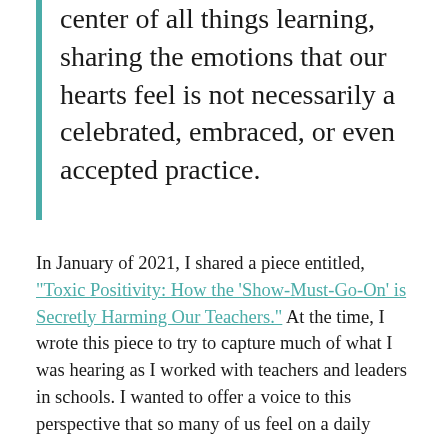center of all things learning, sharing the emotions that our hearts feel is not necessarily a celebrated, embraced, or even accepted practice.
In January of 2021, I shared a piece entitled, "Toxic Positivity: How the 'Show-Must-Go-On' is Secretly Harming Our Teachers." At the time, I wrote this piece to try to capture much of what I was hearing as I worked with teachers and leaders in schools. I wanted to offer a voice to this perspective that so many of us feel on a daily